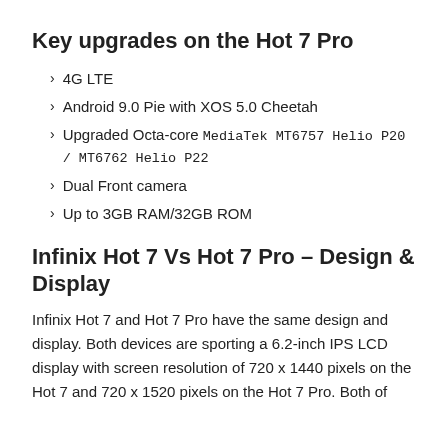Key upgrades on the Hot 7 Pro
4G LTE
Android 9.0 Pie with XOS 5.0 Cheetah
Upgraded Octa-core MediaTek MT6757 Helio P20 / MT6762 Helio P22
Dual Front camera
Up to 3GB RAM/32GB ROM
Infinix Hot 7 Vs Hot 7 Pro – Design & Display
Infinix Hot 7 and Hot 7 Pro have the same design and display. Both devices are sporting a 6.2-inch IPS LCD display with screen resolution of 720 x 1440 pixels on the Hot 7 and 720 x 1520 pixels on the Hot 7 Pro. Both of